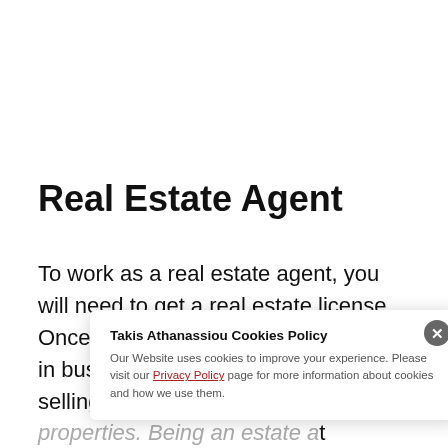Real Estate Agent
To work as a real estate agent, you will need to get a real estate license. Once you've got that, you can set up in business for yourself and start selling homes, land or commercial properties. Being an estate agent means you will work on commission, so your income will reflect how well you sell the property. With good success, you can earn a [lot...]
Takis Athanassiou Cookies Policy

Our Website uses cookies to improve your experience. Please visit our Privacy Policy page for more information about cookies and how we use them.